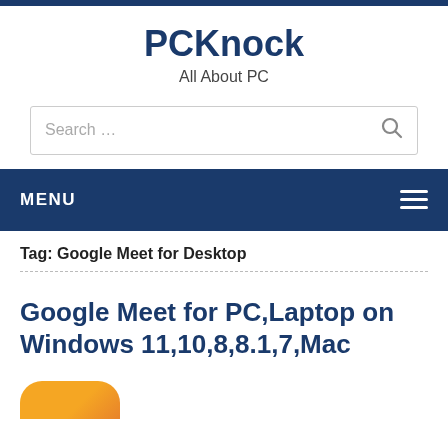PCKnock
All About PC
[Figure (screenshot): Search box with placeholder text 'Search ...' and a magnifying glass icon]
MENU
Tag: Google Meet for Desktop
Google Meet for PC,Laptop on Windows 11,10,8,8.1,7,Mac
[Figure (illustration): Partial thumbnail image showing an orange/yellow rounded shape at the bottom of the page]